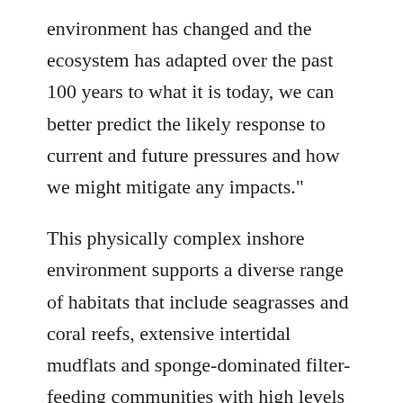environment has changed and the ecosystem has adapted over the past 100 years to what it is today, we can better predict the likely response to current and future pressures and how we might mitigate any impacts."
This physically complex inshore environment supports a diverse range of habitats that include seagrasses and coral reefs, extensive intertidal mudflats and sponge-dominated filter-feeding communities with high levels of biological diversity. The region also supports large and iconic marine fauna including whales, dolphins, dugongs, turtles and estuarine crocodiles.
While aboriginal people have lived in the Kimberley for millennia and retain strong cultural connections